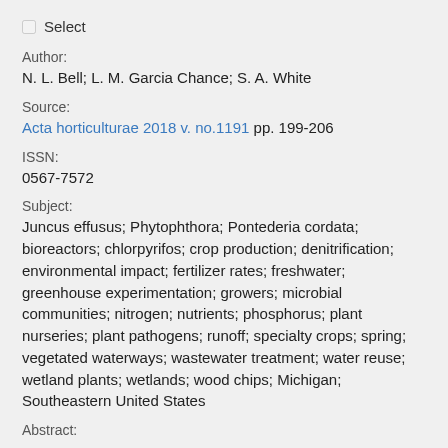Select
Author:
N. L. Bell; L. M. Garcia Chance; S. A. White
Source:
Acta horticulturae 2018 v. no.1191 pp. 199-206
ISSN:
0567-7572
Subject:
Juncus effusus; Phytophthora; Pontederia cordata; bioreactors; chlorpyrifos; crop production; denitrification; environmental impact; fertilizer rates; freshwater; greenhouse experimentation; growers; microbial communities; nitrogen; nutrients; phosphorus; plant nurseries; plant pathogens; runoff; specialty crops; spring; vegetated waterways; wastewater treatment; water reuse; wetland plants; wetlands; wood chips; Michigan; Southeastern United States
Abstract: